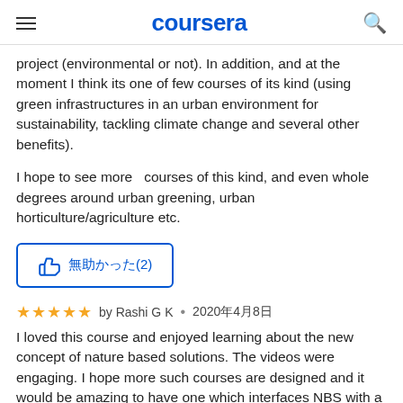coursera
project (environmental or not). In addition, and at the moment I think its one of few courses of its kind (using green infrastructures in an urban environment for sustainability, tackling climate change and several other benefits).
I hope to see more  courses of this kind, and even whole degrees around urban greening, urban horticulture/agriculture etc.
[Figure (other): Helpful button with thumbs up icon and text showing helpful count (2)]
by Rashi G K • 2020年4月8日
I loved this course and enjoyed learning about the new concept of nature based solutions. The videos were engaging. I hope more such courses are designed and it would be amazing to have one which interfaces NBS with a particular sector, such as transportation. How can we